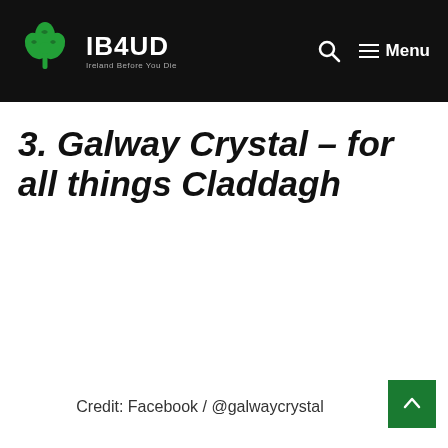IB4UD Ireland Before You Die — Menu
3. Galway Crystal – for all things Claddagh
Credit: Facebook / @galwaycrystal